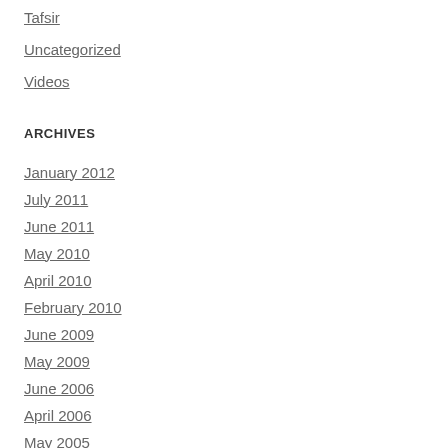Tafsir
Uncategorized
Videos
ARCHIVES
January 2012
July 2011
June 2011
May 2010
April 2010
February 2010
June 2009
May 2009
June 2006
April 2006
May 2005